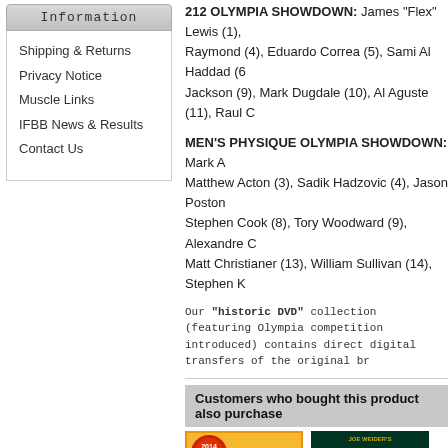Information
Shipping & Returns
Privacy Notice
Muscle Links
IFBB News & Results
Contact Us
212 OLYMPIA SHOWDOWN: James "Flex" Lewis (1), Raymond (4), Eduardo Correa (5), Sami Al Haddad (6), Jackson (9), Mark Dugdale (10), Al Aguste (11), Raul C...
MEN'S PHYSIQUE OLYMPIA SHOWDOWN: Mark A... Matthew Acton (3), Sadik Hadzovic (4), Jason Poston... Stephen Cook (8), Tory Woodward (9), Alexandre C... Matt Christianer (13), William Sullivan (14), Stephen K...
Our "historic DVD" collection (featuring Olympia competition... introduced) contains direct digital transfers of the original br...
Customers who bought this product also purchase...
[Figure (photo): Arnold Classic DVD cover - Prejudging & Finals, showing bodybuilders posing]
[Figure (photo): Masters Olympia DVD cover showing competitors]